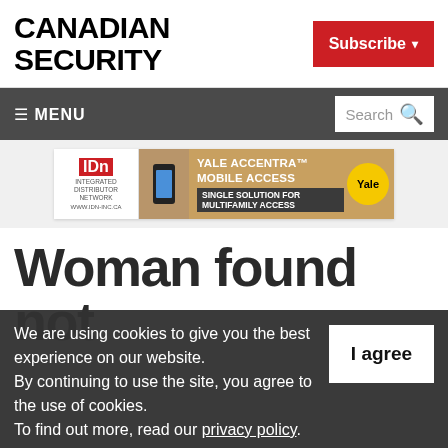[Figure (logo): Canadian Security magazine logo in bold black uppercase text]
[Figure (screenshot): Subscribe button in red with dropdown arrow]
≡ MENU  Search
[Figure (infographic): IDN / Yale Accentra Mobile Access advertisement banner - Single Solution for Multifamily Access]
Woman found not criminally
We are using cookies to give you the best experience on our website. By continuing to use the site, you agree to the use of cookies. To find out more, read our privacy policy.
I agree